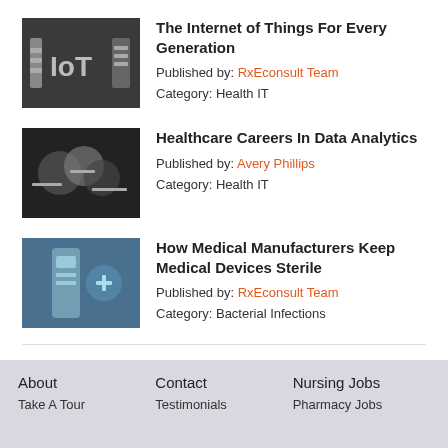The Internet of Things For Every Generation
Published by: RxEconsult Team
Category: Health IT
Healthcare Careers In Data Analytics
Published by: Avery Phillips
Category: Health IT
How Medical Manufacturers Keep Medical Devices Sterile
Published by: RxEconsult Team
Category: Bacterial Infections
View all published articles »
About | Contact | Nursing Jobs
Take A Tour | Testimonials | Pharmacy Jobs